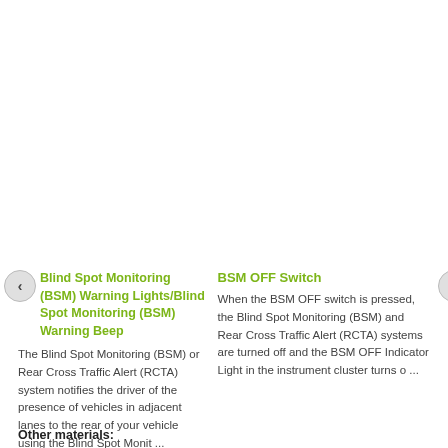Blind Spot Monitoring (BSM) Warning Lights/Blind Spot Monitoring (BSM) Warning Beep
The Blind Spot Monitoring (BSM) or Rear Cross Traffic Alert (RCTA) system notifies the driver of the presence of vehicles in adjacent lanes to the rear of your vehicle using the Blind Spot Monit ...
BSM OFF Switch
When the BSM OFF switch is pressed, the Blind Spot Monitoring (BSM) and Rear Cross Traffic Alert (RCTA) systems are turned off and the BSM OFF Indicator Light in the instrument cluster turns o ...
Other materials: